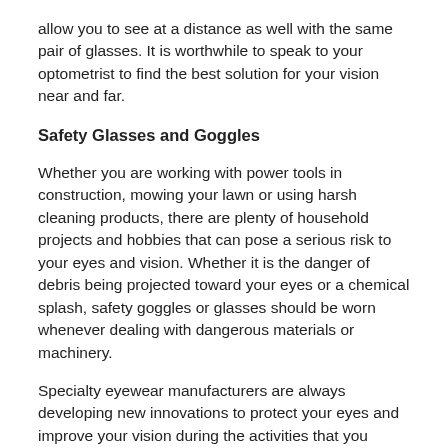allow you to see at a distance as well with the same pair of glasses. It is worthwhile to speak to your optometrist to find the best solution for your vision near and far.
Safety Glasses and Goggles
Whether you are working with power tools in construction, mowing your lawn or using harsh cleaning products, there are plenty of household projects and hobbies that can pose a serious risk to your eyes and vision. Whether it is the danger of debris being projected toward your eyes or a chemical splash, safety goggles or glasses should be worn whenever dealing with dangerous materials or machinery.
Specialty eyewear manufacturers are always developing new innovations to protect your eyes and improve your vision during the activities that you enjoy. Ask your optometrist about the specialty eyewear that is suitable for your interests and hobbies.